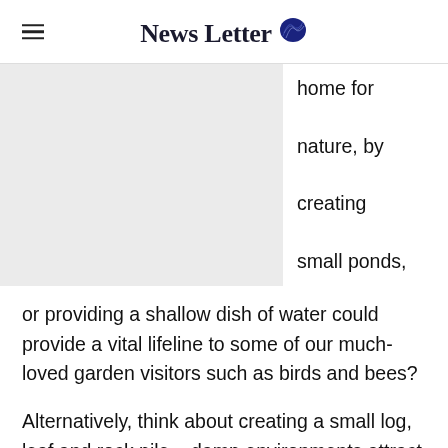News Letter
[Figure (photo): Image placeholder (grey rectangle), partially visible article image on left side of page]
home for nature, by creating small ponds, or providing a shallow dish of water could provide a vital lifeline to some of our much-loved garden visitors such as birds and bees?
Alternatively, think about creating a small log, leaf and rock pile – damp environments attract invertebrates, which in turn, provide a snack for birds.